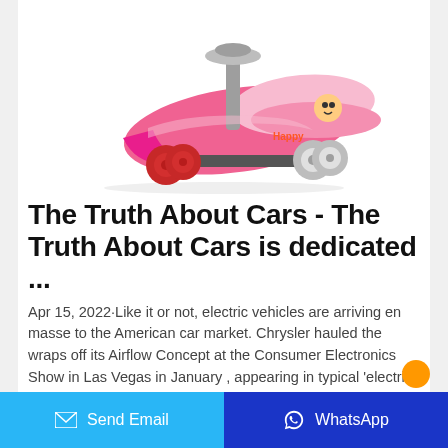[Figure (photo): Pink children's plasma car / wiggle ride-on toy with four pink wheels, a handlebar, and a seat decorated with character stickers saying 'Happy']
The Truth About Cars - The Truth About Cars is dedicated ...
Apr 15, 2022·Like it or not, electric vehicles are arriving en masse to the American car market. Chrysler hauled the wraps off its Airflow Concept at the Consumer Electronics Show in Las Vegas in January , appearing in typical 'electric car white' as
Send Email   WhatsApp